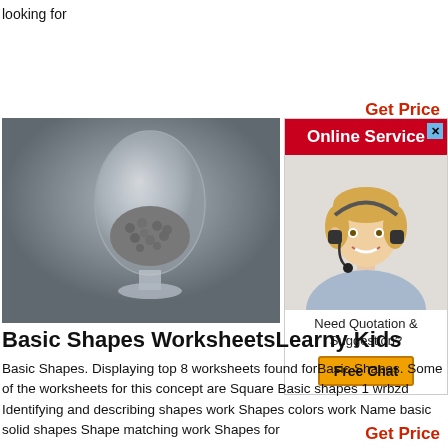looking for
Get Price
[Figure (illustration): Advertisement box with red header 'Online Service', image of a smiling blonde woman with headset, and 'Need Quotation & Suggestion? Free Chat' section]
[Figure (photo): Photo of a glass egg-shaped vessel containing small gray balls/pellets, placed on a gray background]
Basic Shapes WorksheetsLearny Kids
Basic Shapes. Displaying top 8 worksheets found forBasic Shapes. Some of the worksheets for this concept are Square Basic shapes 1 wrbzd Identifying and describing shapes work Shapes colors work Name basic solid shapes Shape matching work Shapes for
Get Price